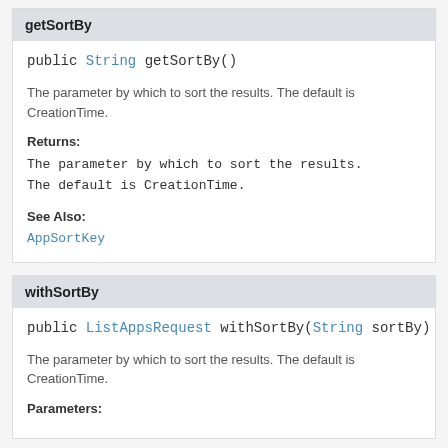getSortBy
public String getSortBy()
The parameter by which to sort the results. The default is CreationTime.
Returns:
The parameter by which to sort the results. The default is CreationTime.
See Also:
AppSortKey
withSortBy
public ListAppsRequest withSortBy(String sortBy)
The parameter by which to sort the results. The default is CreationTime.
Parameters: